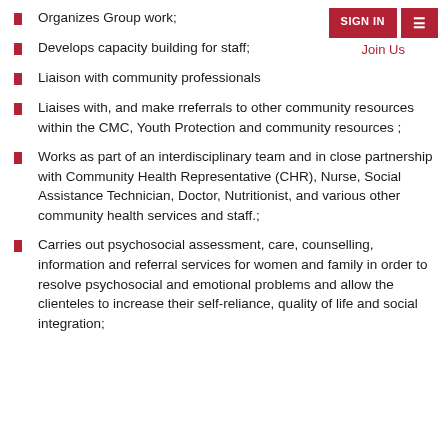SIGN IN | Menu | Join Us
Organizes Group work;
Develops capacity building for staff;
Liaison with community professionals
Liaises with, and make rreferrals to other community resources within the CMC, Youth Protection and community resources ;
Works as part of an interdisciplinary team and in close partnership with Community Health Representative (CHR), Nurse, Social Assistance Technician, Doctor, Nutritionist, and various other community health services and staff.;
Carries out psychosocial assessment, care, counselling, information and referral services for women and family in order to resolve psychosocial and emotional problems and allow the clienteles to increase their self-reliance, quality of life and social integration;